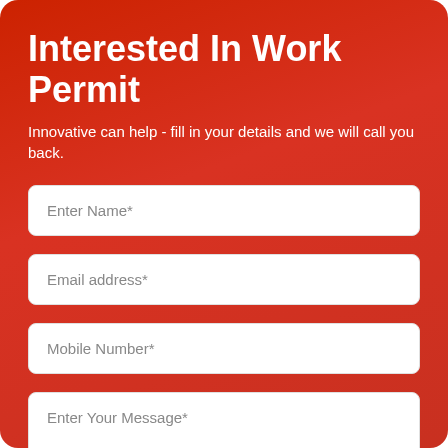Interested In Work Permit
Innovative can help - fill in your details and we will call you back.
Enter Name*
Email address*
Mobile Number*
Enter Your Message*